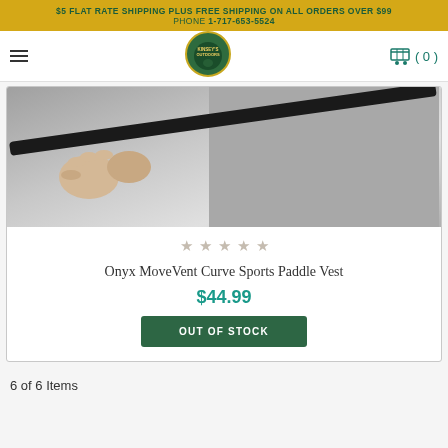$5 FLAT RATE SHIPPING PLUS FREE SHIPPING ON ALL ORDERS OVER $99
PHONE 1-717-653-5524
[Figure (logo): Kinsey's Outdoors logo — circular green and gold badge with deer silhouette]
[Figure (photo): Person holding a dark rod/paddle, wearing a grey vest — product photo for Onyx MoveVent Curve Sports Paddle Vest]
Onyx MoveVent Curve Sports Paddle Vest
$44.99
OUT OF STOCK
6 of 6 Items